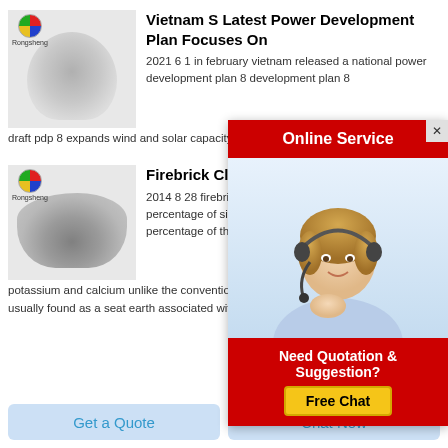[Figure (photo): Gray powder in a mound shape on a display stand, with Rongsheng logo in top left corner, on light gray background]
Vietnam S Latest Power Development Plan Focuses On
2021 6 1 in february vietnam released a national power development plan 8 development plan 8 draft pdp 8 expands wind and solar capacity and increases country s generation mix
[Figure (photo): Gray firebrick clay powder pile on light gray background, with Rongsheng logo in top left corner]
Firebrick Clay Mumbai Maharashtra
2014 8 28 firebrick that is chemically composed of a high percentage of silicon and aluminum oxides and a low percentage of the oxides of sodium potassium and calcium unlike the conventional brick making clay it is mined at depth usually found as a seat earth associated with coal measures
[Figure (screenshot): Online Service popup with red header, female customer service agent photo, and Free Chat button]
Get a Quote
Chat Now